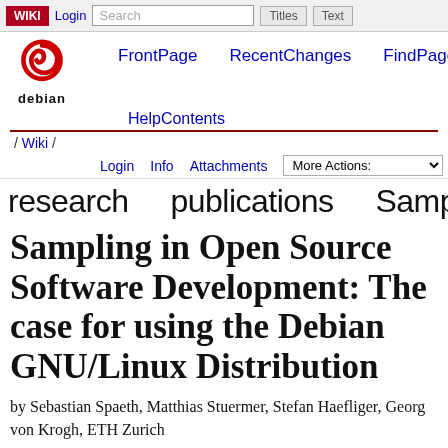WIKI  Login  Search  Titles  Text
[Figure (logo): Debian swirl logo with 'debian' text below]
FrontPage   RecentChanges   FindPage
HelpContents
/ Wiki /
Login  Info  Attachments  More Actions:
research   publications   Samp
Sampling in Open Source Software Development: The case for using the Debian GNU/Linux Distribution
by Sebastian Spaeth, Matthias Stuermer, Stefan Haefliger, Georg von Krogh, ETH Zurich
Abstract/Summary